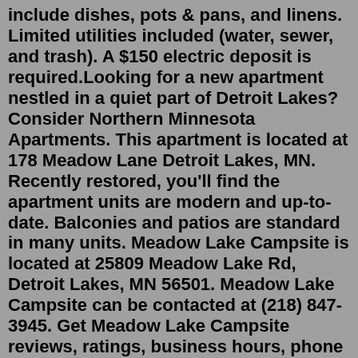include dishes, pots & pans, and linens. Limited utilities included (water, sewer, and trash). A $150 electric deposit is required.Looking for a new apartment nestled in a quiet part of Detroit Lakes? Consider Northern Minnesota Apartments. This apartment is located at 178 Meadow Lane Detroit Lakes, MN. Recently restored, you'll find the apartment units are modern and up-to-date. Balconies and patios are standard in many units. Meadow Lake Campsite is located at 25809 Meadow Lake Rd, Detroit Lakes, MN 56501. Meadow Lake Campsite can be contacted at (218) 847-3945. Get Meadow Lake Campsite reviews, ratings, business hours, phone numbers, and directions. Meadows Edge Apartments - Detroit Lakes 252-320 W Elm St , Detroit Lakes , MN 56501 Detroit Lakes (0 reviews) Verified Listing Today 844-449-3440 Monthly Rent $810 - $1,120 Bedrooms 1 - 3 bd Bathrooms 1 - 2 ba Square Feet 678 - 1,350 sq ft Meadows Edge Apartments - Detroit Lakes Transportation Points of Interest Pricing & Floor Plans 1 BedroomThe Venue